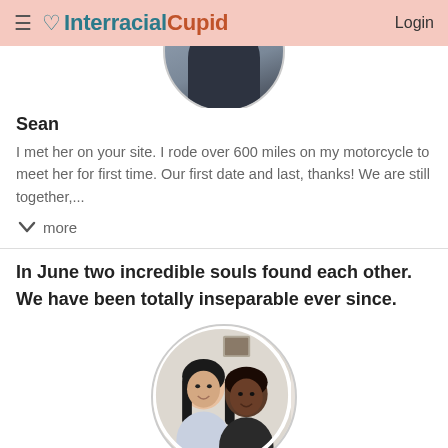InterracialCupid Login
[Figure (photo): Partial view of a circular profile photo showing a person in dark clothing, cropped at top of page]
Sean
I met her on your site. I rode over 600 miles on my motorcycle to meet her for first time. Our first date and last, thanks! We are still together,...
more
In June two incredible souls found each other. We have been totally inseparable ever since.
[Figure (photo): Circular profile photo of a couple — a woman with long black hair and a man, both smiling, shown from shoulders up inside a circle frame]